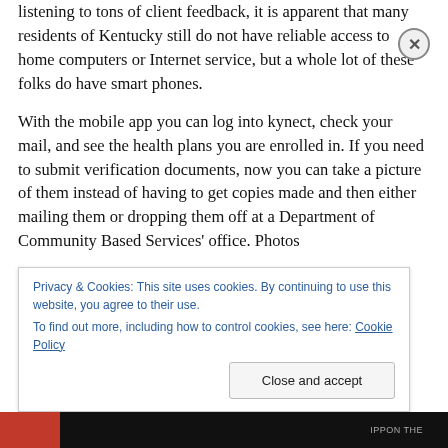listening to tons of client feedback, it is apparent that many residents of Kentucky still do not have reliable access to home computers or Internet service, but a whole lot of these folks do have smart phones.
With the mobile app you can log into kynect, check your mail, and see the health plans you are enrolled in. If you need to submit verification documents, now you can take a picture of them instead of having to get copies made and then either mailing them or dropping them off at a Department of Community Based Services' office. Photos
Privacy & Cookies: This site uses cookies. By continuing to use this website, you agree to their use.
To find out more, including how to control cookies, see here: Cookie Policy
Close and accept